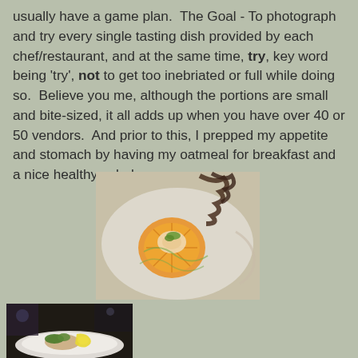usually have a game plan.  The Goal - To photograph and try every single tasting dish provided by each chef/restaurant, and at the same time, try, key word being 'try', not to get too inebriated or full while doing so.  Believe you me, although the portions are small and bite-sized, it all adds up when you have over 40 or 50 vendors.  And prior to this, I prepped my appetite and stomach by having my oatmeal for breakfast and a nice healthy salad.
[Figure (photo): A plated tasting dish showing a scallop or seafood item with orange sauce, green herb garnish, and seaweed, presented on a light colored plate]
[Figure (photo): A plated tasting dish showing food items with lemon and greens on a white plate, photographed in a dimly lit event setting]